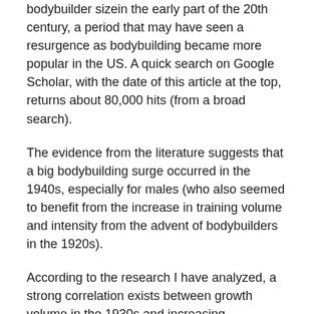bodybuilder sizein the early part of the 20th century, a period that may have seen a resurgence as bodybuilding became more popular in the US. A quick search on Google Scholar, with the date of this article at the top, returns about 80,000 hits (from a broad search).
The evidence from the literature suggests that a big bodybuilding surge occurred in the 1940s, especially for males (who also seemed to benefit from the increase in training volume and intensity from the advent of bodybuilders in the 1920s).
According to the research I have analyzed, a strong correlation exists between growth volume in the 1930s and increasing bodyweight of male bodybuilders, vibrator linear pneumatic. Growth volume and weight of female bodybuilders was more